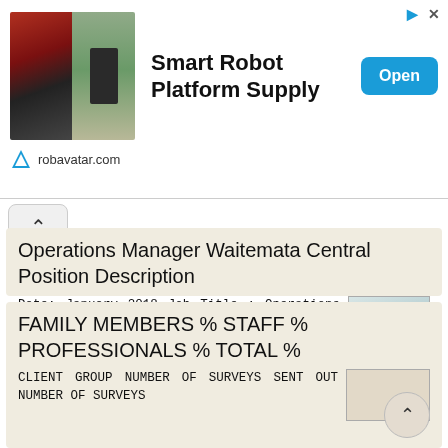[Figure (screenshot): Advertisement banner for Smart Robot Platform Supply from robavatar.com with robot images on the left, bold title text in center, and an Open button on the right]
Operations Manager Waitemata Central Position Description
Date: January 2018 Job Title : Operations Manager (NSH or WTH based) Department : Location : Waitemata District Health Board all sites Reporting To : Director Hospital Services Direct Reports Duty Nurse
More information →
FAMILY MEMBERS % STAFF % PROFESSIONALS % TOTAL %
CLIENT GROUP NUMBER OF SURVEYS SENT OUT NUMBER OF SURVEYS